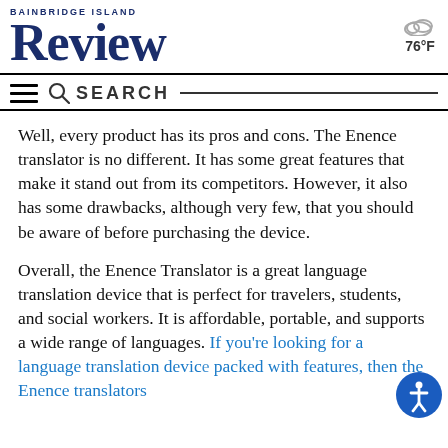BAINBRIDGE ISLAND REVIEW
76°F
SEARCH
Well, every product has its pros and cons. The Enence translator is no different. It has some great features that make it stand out from its competitors. However, it also has some drawbacks, although very few, that you should be aware of before purchasing the device.
Overall, the Enence Translator is a great language translation device that is perfect for travelers, students, and social workers. It is affordable, portable, and supports a wide range of languages. If you're looking for a language translation device packed with features, then the Enence translato... definitely worth the consideration.